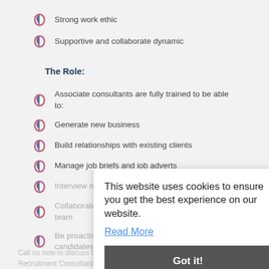Strong work ethic
Supportive and collaborate dynamic
The Role:
Associate consultants are fully trained to be able to:
Generate new business
Build relationships with existing clients
Manage job briefs and job adverts
Interview management and candidate generation
Collaborate and share information with the entire team
Be proactive in searching for new candidates/clients
This website uses cookies to ensure you get the best experience on our website.
Read More
Got it!
Call us now to discuss this job in more detail and other similar Recruitment Consultancy roles.